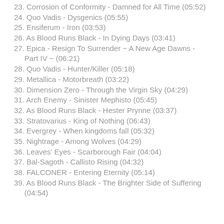23. Corrosion of Conformity - Damned for All Time (05:52)
24. Quo Vadis - Dysgenics (05:55)
25. Ensiferum - Iron (03:53)
26. As Blood Runs Black - In Dying Days (03:41)
27. Epica - Resign To Surrender ~ A New Age Dawns - Part IV ~ (06:21)
28. Quo Vadis - Hunter/Killer (05:18)
29. Metallica - Motorbreath (03:22)
30. Dimension Zero - Through the Virgin Sky (04:29)
31. Arch Enemy - Sinister Mephisto (05:45)
32. As Blood Runs Black - Hester Prynne (03:37)
33. Stratovarius - King of Nothing (06:43)
34. Evergrey - When kingdoms fall (05:32)
35. Nightrage - Among Wolves (04:29)
36. Leaves' Eyes - Scarborough Fair (04:04)
37. Bal-Sagoth - Callisto Rising (04:32)
38. FALCONER - Entering Eternity (05:14)
39. As Blood Runs Black - The Brighter Side of Suffering (04:54)